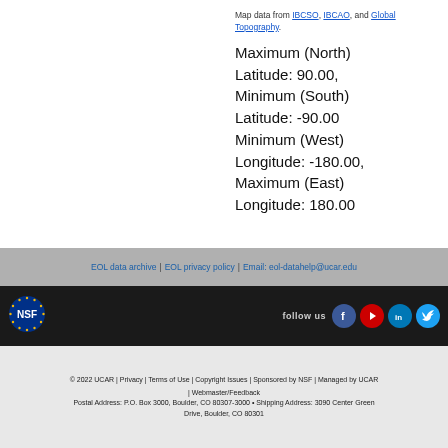Map data from IBCSO, IBCAO, and Global Topography.
Maximum (North) Latitude: 90.00, Minimum (South) Latitude: -90.00 Minimum (West) Longitude: -180.00, Maximum (East) Longitude: 180.00
EOL data archive | EOL privacy policy | Email: eol-datahelp@ucar.edu
[Figure (logo): NSF circular logo with gold stars on blue background]
follow us [Facebook] [YouTube] [LinkedIn] [Twitter]
© 2022 UCAR | Privacy | Terms of Use | Copyright Issues | Sponsored by NSF | Managed by UCAR | Webmaster/Feedback
Postal Address: P.O. Box 3000, Boulder, CO 80307-3000 • Shipping Address: 3090 Center Green Drive, Boulder, CO 80301